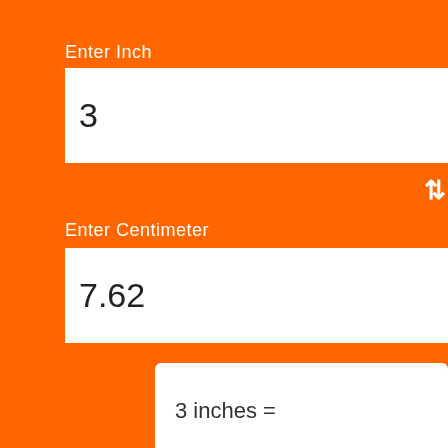Enter Inch
3
⇅
Enter Centimeter
7.62
3 inches =